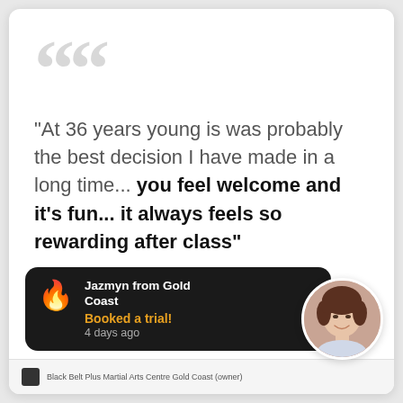““
"At 36 years young is was probably the best decision I have made in a long time... you feel welcome and it's fun... it always feels so rewarding after class"
Jazmyn from Gold Coast
Booked a trial!
4 days ago
Awesome instructors. From the moment covered in sweat, it is an exhilarating expe th the help and knowledge of some grea remarkable change in anxiety levels and o It was probably the best decision I have m to train. It always feels so rewarding after noo old.
[Figure (photo): Circular avatar photo of a woman with short brown hair, smiling]
Black Belt Plus Martial Arts Centre Gold Coast (owner)